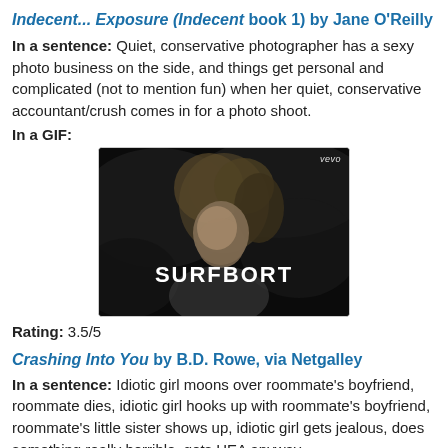Indecent... Exposure (Indecent book 1) by Jane O'Reilly
In a sentence: Quiet, conservative photographer has a sexy photo business on the side, and things get personal and complicated (not to mention fun) when her quiet, conservative accountant/crush comes in for a photo shoot.
In a GIF:
[Figure (photo): Black and white video still of a woman with blonde hair, with 'SURFBORT' text overlay and 'vevo' watermark in top right corner]
Rating: 3.5/5
Crashing Into You by B.D. Rowe, via Netgalley
In a sentence: Idiotic girl moons over roommate's boyfriend, roommate dies, idiotic girl hooks up with roommate's boyfriend, roommate's little sister shows up, idiotic girl gets jealous, does something really horrible, gets HEA anyway.
In a GIF: